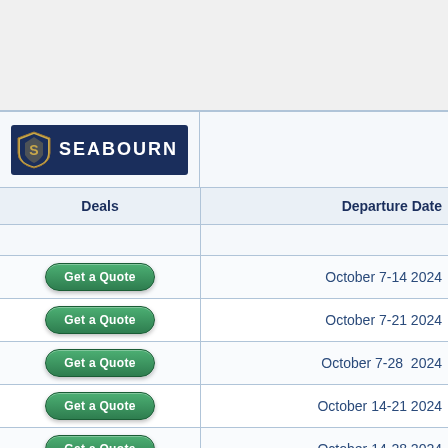[Figure (logo): Seabourn cruise line logo — navy blue background with shield emblem and 'SEABOURN' text in white]
| Deals | Departure Date |
| --- | --- |
| Get a Quote | October 7-14 2024 |
| Get a Quote | October 7-21 2024 |
| Get a Quote | October 7-28  2024 |
| Get a Quote | October 14-21 2024 |
| Get a Quote | October 14-28 2024 |
| Get a Quote | October 14 November 4 |
| Get a Quote | October 21-28 2024 |
| Get a Quote | October 21 November 4 |
| Get a Quote | October 21 November ... |